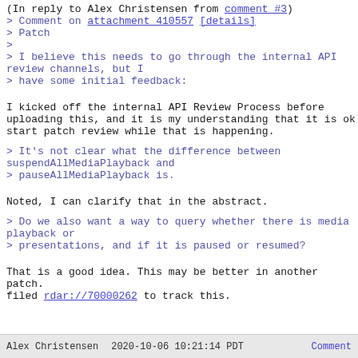(In reply to Alex Christensen from comment #3)
> Comment on attachment 410557 [details]
> Patch
>
> I believe this needs to go through the internal API review channels, but I
> have some initial feedback:
I kicked off the internal API Review Process before uploading this, and it is my understanding that it is ok start patch review while that is happening.
> It's not clear what the difference between suspendAllMediaPlayback and
> pauseAllMediaPlayback is.
Noted, I can clarify that in the abstract.
> Do we also want a way to query whether there is media playback or
> presentations, and if it is paused or resumed?
That is a good idea. This may be better in another patch. filed rdar://70000262 to track this.
Alex Christensen   2020-10-06 10:21:14 PDT   Comment